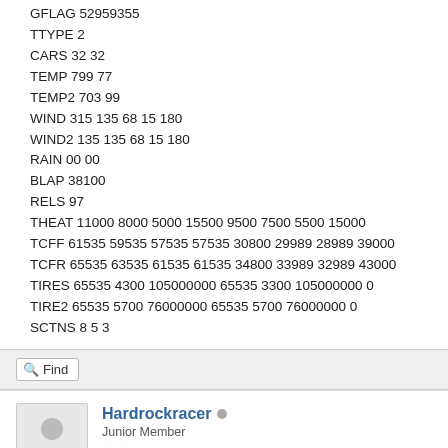GFLAG 52959355
TTYPE 2
CARS 32 32
TEMP 799 77
TEMP2 703 99
WIND 315 135 68 15 180
WIND2 135 135 68 15 180
RAIN 00 00
BLAP 38100
RELS 97
THEAT 11000 8000 5000 15500 9500 7500 5500 15000
TCFF 61535 59535 57535 57535 30800 29989 28989 39000
TCFR 65535 63535 61535 61535 34800 33989 32989 43000
TIRES 65535 4300 105000000 65535 3300 105000000 0
TIRE2 65535 5700 76000000 65535 5700 76000000 0
SCTNS 8 5 3
Find
Hardrockracer
Junior Member
★★